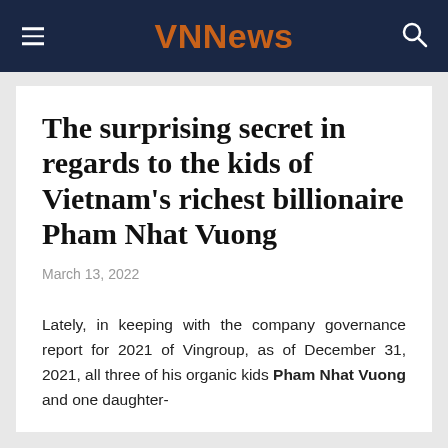VNNews
The surprising secret in regards to the kids of Vietnam's richest billionaire Pham Nhat Vuong
March 13, 2022
Lately, in keeping with the company governance report for 2021 of Vingroup, as of December 31, 2021, all three of his organic kids Pham Nhat Vuong and one daughter-